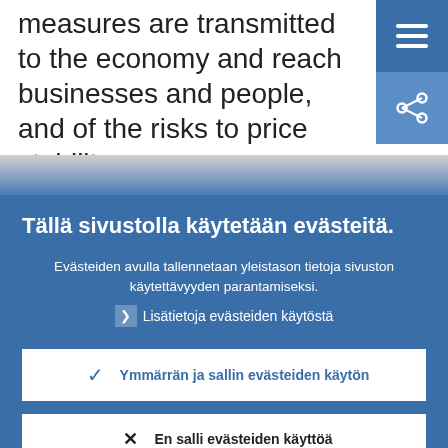measures are transmitted to the economy and reach businesses and people, and of the risks to price stability.
Tällä sivustolla käytetään evästeitä.
Evästeiden avulla tallennetaan yleistason tietoja sivuston käytettävyyden parantamiseksi.
Lisätietoja evästeiden käytöstä
Ymmärrän ja sallin evästeiden käytön
En salli evästeiden käyttöä